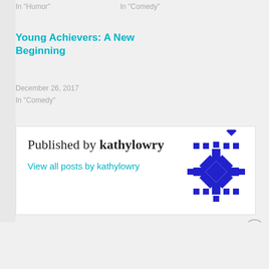In "Humor"
In "Comedy"
Young Achievers: A New Beginning
December 26, 2017
In "Comedy"
Published by kathylowry
View all posts by kathylowry
[Figure (illustration): Blue geometric snowflake/mandala-style avatar icon for user kathylowry]
Advertisements
[Figure (screenshot): DuckDuckGo advertisement banner: Search, browse, and email with more privacy. All in One Free App. DuckDuckGo logo on dark background.]